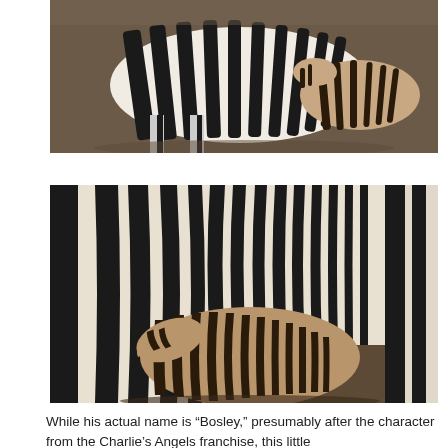[Figure (photo): A zebra foal standing next to a large adult zebra with bold black and white stripes, on a dusty ground background.]
[Figure (photo): A small zebra foal with brownish and black stripes walking beneath and among adult zebras with bold black and white stripes.]
While his actual name is “Bosley,” presumably after the character from the Charlie’s Angels franchise, this little